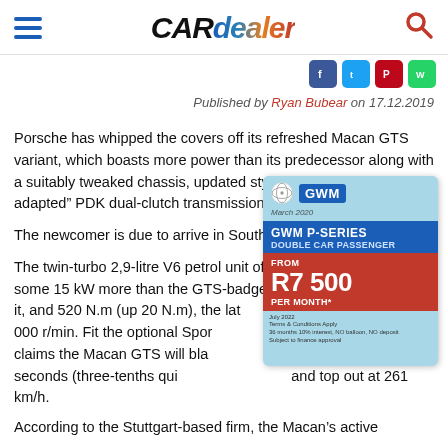CAR dealer
Published by Ryan Bubear on 17.12.2019
Porsche has whipped the covers off its refreshed Macan GTS variant, which boasts more power than its predecessor along with a suitably tweaked chassis, updated styling and a “newly adapted” PDK dual-clutch transmission.
The newcomer is due to arrive in South Africa in March 2020.
The twin-turbo 2,9-litre V6 petrol unit offers 260 kW, which is some 15 kW more than the GTS-badged model that went before it, and 520 N.m (up 20 N.m), the latter from 750 to 5 000 r/min. Fit the optional Sport Chrono package and Porsche claims the Macan GTS will blast from standstill to 100 km/h in 4,7 seconds (three-tenths quicker than before) and top out at 261 km/h.
[Figure (infographic): GWM P-Series Double Car Passenger advertisement. From R7 500 per month.]
According to the Stuttgart-based firm, the Macan’s active